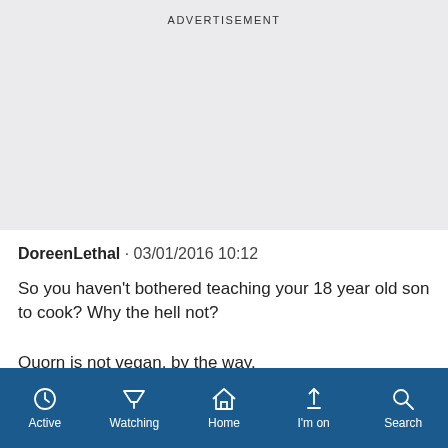ADVERTISEMENT
DoreenLethal · 03/01/2016 10:12

So you haven't bothered teaching your 18 year old son to cook? Why the hell not?

Quorn is not vegan, by the way.
Active | Watching | Home | I'm on | Search